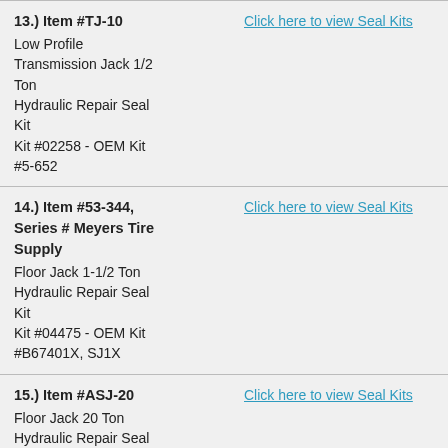13.) Item #TJ-10 Low Profile Transmission Jack 1/2 Ton Hydraulic Repair Seal Kit Kit #02258 - OEM Kit #5-652
Click here to view Seal Kits
14.) Item #53-344, Series # Meyers Tire Supply Floor Jack 1-1/2 Ton Hydraulic Repair Seal Kit Kit #04475 - OEM Kit #B67401X, SJ1X
Click here to view Seal Kits
15.) Item #ASJ-20 Floor Jack 20 Ton Hydraulic Repair Seal Kit Kit #01067 - OEM Kit #KJ109
Click here to view Seal Kits